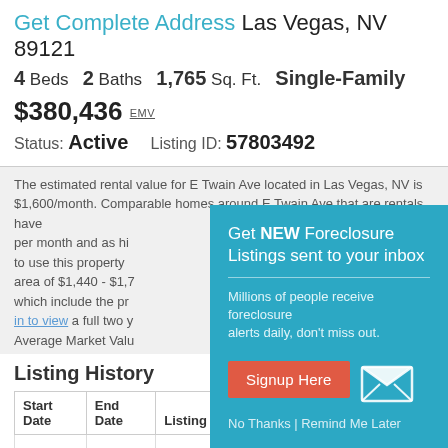Get Complete Address Las Vegas, NV 89121
4 Beds  2 Baths  1,765 Sq. Ft.  Single-Family
$380,436 EMV
Status: Active  Listing ID: 57803492
The estimated rental value for E Twain Ave located in Las Vegas, NV is $1,600/month. Comparable homes around E Twain Ave that are rentals have per month and as hi to use this property area of $1,440 - $1,7 which include the pro in to view a full two y Average Market Value
Get NEW Foreclosure Listings sent to your inbox
Millions of people receive foreclosure alerts daily, don't miss out.
Signup Here
No Thanks | Remind Me Later
Listing History
| Start Date | End Date | Listing Type | Bank Name |
| --- | --- | --- | --- |
|  |  |  |  |